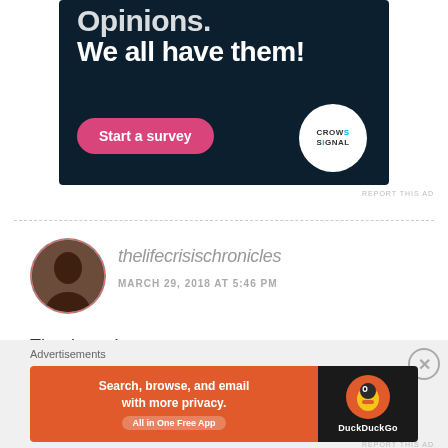[Figure (infographic): Dark navy advertisement banner for Crowdsignal survey tool. Text reads 'Opinions. We all have them!' with a pink 'Start a survey' button and Crowdsignal circular logo.]
REPORT THIS AD
thelifecrisischronicles
MARCH 29, 2018 AT 5:46 PM
Thank you!
Advertisements
[Figure (infographic): DuckDuckGo advertisement banner. Orange left side reads 'Search, browse, and email with more privacy. All in One Free App'. Dark right side shows DuckDuckGo duck logo and name.]
REPORT THIS AD